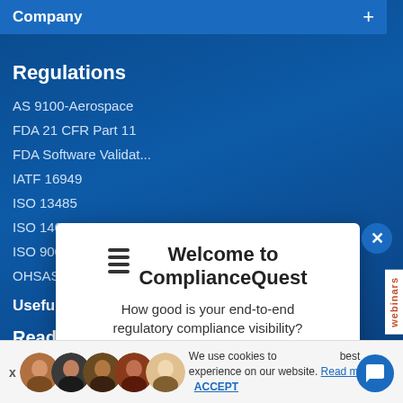Company +
Regulations
AS 9100-Aerospace
FDA 21 CFR Part 11
FDA Software Validat...
IATF 16949
ISO 13485
ISO 14001
ISO 9001
OHSAS 18001 / ISO 4...
Useful Resources
Ready to empo...
Watch Online Demo...
you achieve your qu...
[Figure (screenshot): ComplianceQuest welcome modal popup with hamburger icon, title 'Welcome to ComplianceQuest', subtitle 'How good is your end-to-end regulatory compliance visibility?', and a blue 'We’re here to help! Chat with us' button]
We use cookies to... best experience on our website. Read more ACCEPT